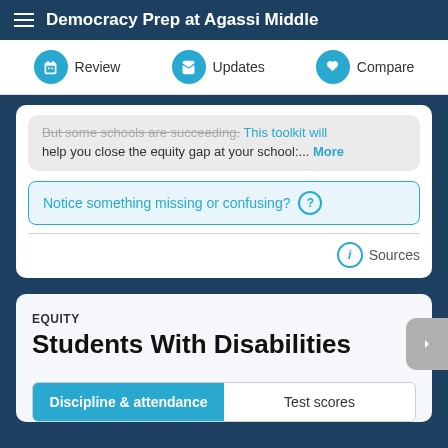Democracy Prep at Agassi Middle
Review
Updates
Compare
But some schools are succeeding. This toolkit will help you close the equity gap at your school:... More
Notice something missing or confusing? ?
ⓘ Sources
EQUITY
Students With Disabilities
Discipline & attendance
Test scores